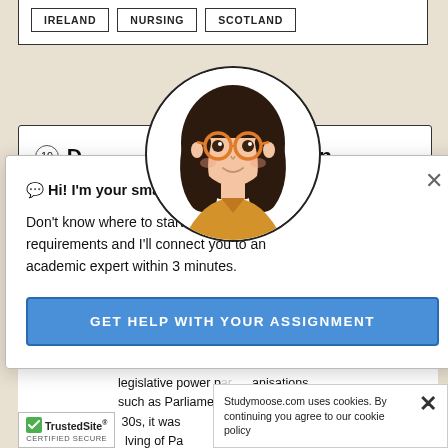[Figure (screenshot): Website screenshot of StudyMoose.com showing tag buttons (IRELAND, NURSING, SCOTLAND), an article card with number 19, partial title text 'D... I Succeed in', and body text fragments about legislative power and Parliament. Overlaid by a chatbot popup featuring an illustrated avatar of a girl with glasses, greeting text, and a CTA button. Also shows a cookie consent bar and TrustedSite badge.]
IRELAND   NURSING   SCOTLAND
19 D[...] I Succeed in
💬 Hi! I'm your smart assistant Amy!
Don't know where to start? Type your requirements and I'll connect you to an academic expert within 3 minutes.
GET HELP WITH YOUR ASSIGNMENT
ples   olutism   Royal   whereby   tually no   anisations
legislative power p[...]   such as Parliament   [1]930s, it was   [...]olving of Pa
Studymoose.com uses cookies. By continuing you agree to our cookie policy
TrustedSite® CERTIFIED SECURE